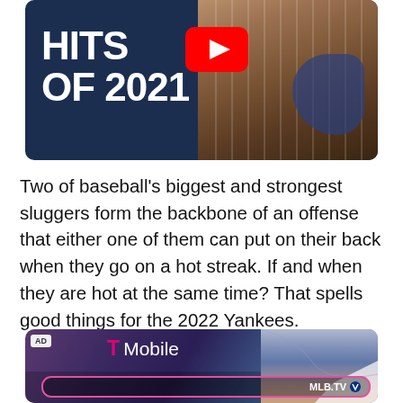[Figure (screenshot): YouTube video thumbnail showing 'HITS OF 2021' text in large white bold letters with YouTube play button icon on a dark navy background, with a baseball player in pinstripes visible on the right side]
Two of baseball's biggest and strongest sluggers form the backbone of an offense that either one of them can put on their back when they go on a hot streak. If and when they are hot at the same time? That spells good things for the 2022 Yankees.
[Figure (screenshot): T-Mobile advertisement showing the T-Mobile logo in white with magenta T-icon, an airplane window view with blue sky and wing visible on the right side, and a MLB.TV logo bar at the bottom with pink/magenta border. AD label in top left corner.]